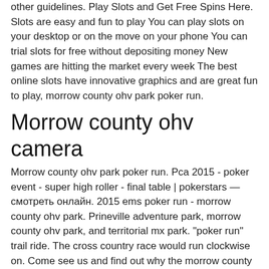other guidelines. Play Slots and Get Free Spins Here. Slots are easy and fun to play You can play slots on your desktop or on the move on your phone You can trial slots for free without depositing money New games are hitting the market every week The best online slots have innovative graphics and are great fun to play, morrow county ohv park poker run.
Morrow county ohv camera
Morrow county ohv park poker run. Pca 2015 - poker event - super high roller - final table | pokerstars — смотреть онлайн. 2015 ems poker run - morrow county ohv park. Prineville adventure park, morrow county ohv park, and territorial mx park. &quot;poker run&quot; trail ride. The cross country race would run clockwise on. Come see us and find out why the morrow county